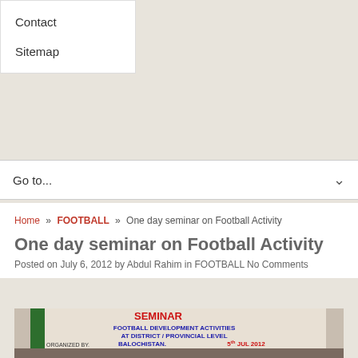Contact
Sitemap
Go to...
Home » FOOTBALL » One day seminar on Football Activity
One day seminar on Football Activity
Posted on July 6, 2012 by Abdul Rahim in FOOTBALL No Comments
[Figure (photo): Photo of a seminar banner reading SEMINAR FOOTBALL DEVELOPMENT ACTIVITIES AT DISTRICT/PROVINCIAL LEVEL BALOCHISTAN. 5th JUL 2012 ORGANIZED BY... with people seated in front]